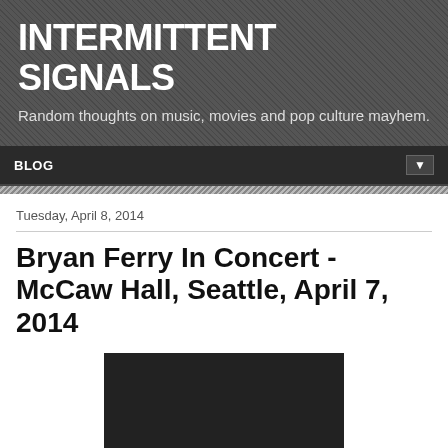INTERMITTENT SIGNALS
Random thoughts on music, movies and pop culture mayhem.
BLOG
Tuesday, April 8, 2014
Bryan Ferry In Concert - McCaw Hall, Seattle, April 7, 2014
[Figure (photo): Dark/black concert photo placeholder image]